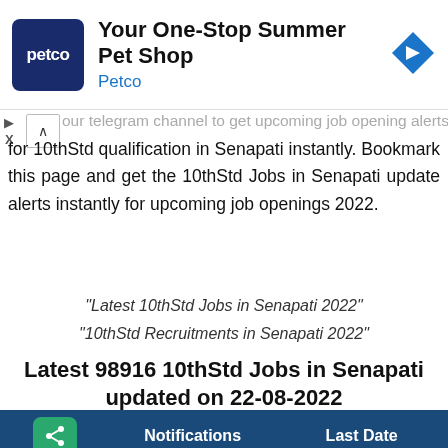[Figure (advertisement): Petco ad banner: logo (navy square with white 'petco' text), headline 'Your One-Stop Summer Pet Shop', subtext 'Petco', blue diamond arrow icon on right]
our telegram channel to get upcoming job opening alerts for 10thStd qualification in Senapati instantly. Bookmark this page and get the 10thStd Jobs in Senapati update alerts instantly for upcoming job openings 2022.
"Latest 10thStd Jobs in Senapati 2022"
"10thStd Recruitments in Senapati 2022"
Latest 98916 10thStd Jobs in Senapati updated on 22-08-2022
|  | Notifications | Last Date |
| --- | --- | --- |
| ▶ ITBP - Apply Online for 52 Constable Posts | 27-09-2022 |